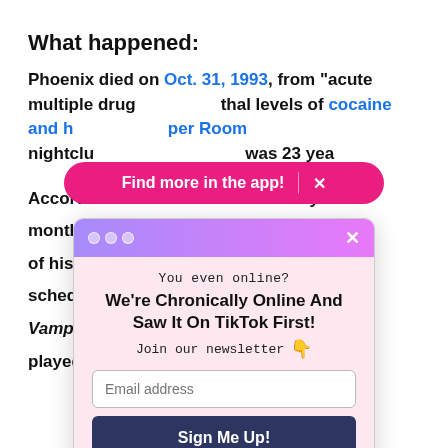What happened:
Phoenix died on Oct. 31, 1993, from "acute multiple drug [obscured] lethal levels of cocaine and h[eroin] [at] the Viper Room nightclub [in Los Angeles. He] was 23 year[s old].
[Figure (screenshot): Pink pill-shaped banner overlay reading 'Find more in the app! X']
[Figure (screenshot): Modal popup with purple-pink gradient title bar with three dots and X. Body on pink background: 'You even online?' subtitle, 'We're Chronically Online And Saw It On TikTok First!' title, 'Join our newsletter' with thumbs down emoji, email input field, Sign Me Up! button, No Thanks link.]
Accordi[ng to reports, Phoenix had been using drugs for approxim]ately a month d[ue to his demanding film schedule at] the time of his de[ath. He was] s[et to film scenes] schedul[ed for] Interview [wi]th the Vampire[. He also had roles in] g [films he] played [in].